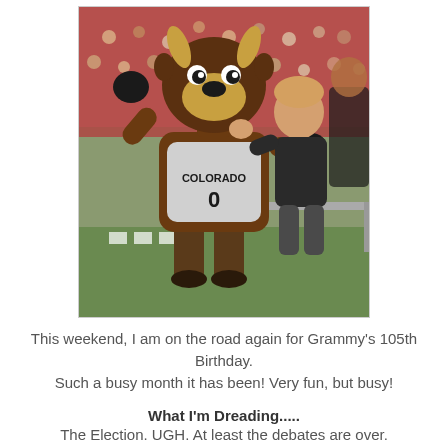[Figure (photo): Photo of the University of Colorado Buffaloes mascot (Chip the Buffalo, wearing a Colorado jersey #0) high-fiving a young boy at a football game sideline. The mascot has a large brown furry buffalo costume with a cartoonish face.]
This weekend, I am on the road again for Grammy's 105th Birthday.
Such a busy month it has been! Very fun, but busy!
What I'm Dreading.....
The Election. UGH. At least the debates are over.